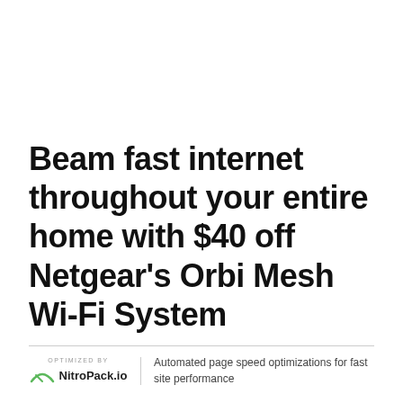Beam fast internet throughout your entire home with $40 off Netgear's Orbi Mesh Wi-Fi System
[Figure (logo): NitroPack.io logo with arc/speed icon and 'OPTIMIZED BY' text above]
Automated page speed optimizations for fast site performance